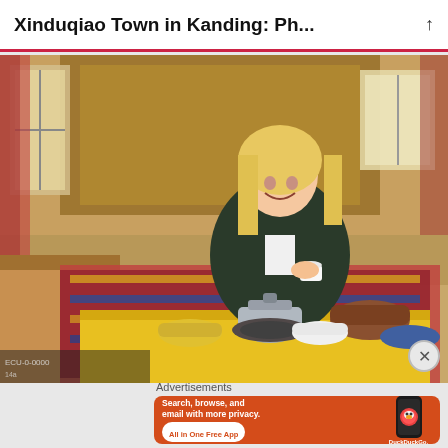Xinduqiao Town in Kanding: Ph...
[Figure (photo): A smiling blonde woman sitting on the floor of a traditional Tibetan-style room, holding a small white cup. In front of her is a low yellow table with a silver teapot on a burner, bowls of food, bread, and traditional dishes. The room has ornate patterned rugs and wooden walls with windows.]
Advertisements
[Figure (screenshot): DuckDuckGo advertisement banner with orange background. Text reads: Search, browse, and email with more privacy. All in One Free App. Shows a smartphone with DuckDuckGo logo.]